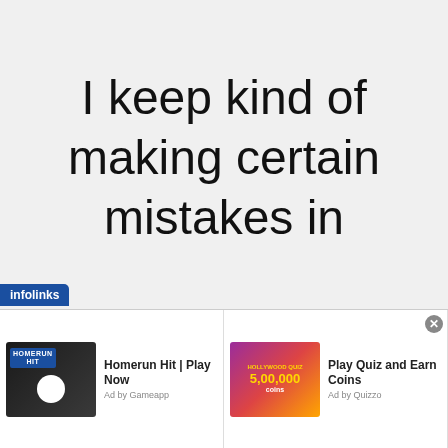I keep kind of making certain mistakes in
[Figure (screenshot): Infolinks advertisement bar with two ad units: 'Homerun Hit | Play Now' (Ad by Gameapp) and 'Play Quiz and Earn Coins' (Ad by Quizzo), with close button]